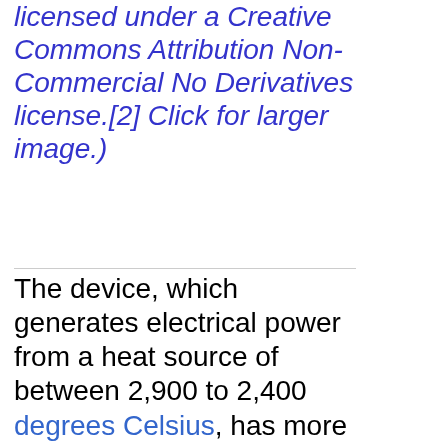licensed under a Creative Commons Attribution Non-Commercial No Derivatives license.[2] Click for larger image.)
The device, which generates electrical power from a heat source of between 2,900 to 2,400 degrees Celsius, has more than a 40% efficiency.[2] This efficiency is about that of steam turbine generator, which is in the range 33-48%.[2] Thermodynamics places an upper efficiency limit on steam conversion at 60%.[2] Presently, more than 90 percent of global electricity derives from heat sources such as coal,